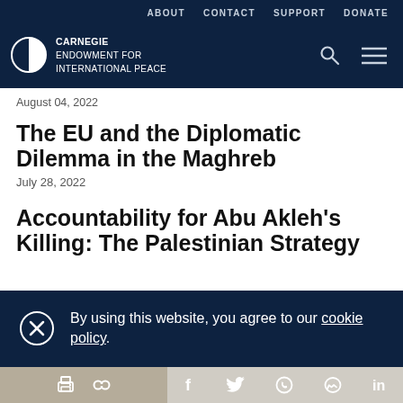ABOUT   CONTACT   SUPPORT   DONATE
[Figure (logo): Carnegie Endowment for International Peace logo with circular half-filled icon and white text]
August 04, 2022
The EU and the Diplomatic Dilemma in the Maghreb
July 28, 2022
Accountability for Abu Akleh’s Killing: The Palestinian Strategy
By using this website, you agree to our cookie policy.